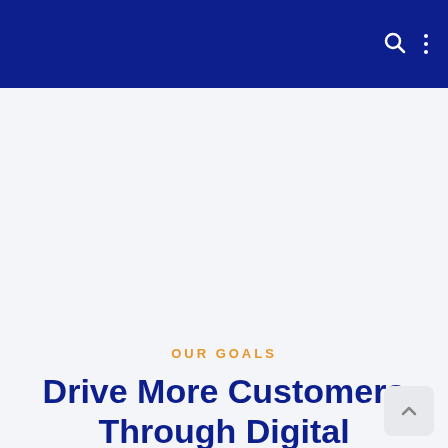Navigation bar with search and menu icons
[Figure (illustration): Hero image area with light gray/white background]
OUR GOALS
Drive More Customers Through Digital